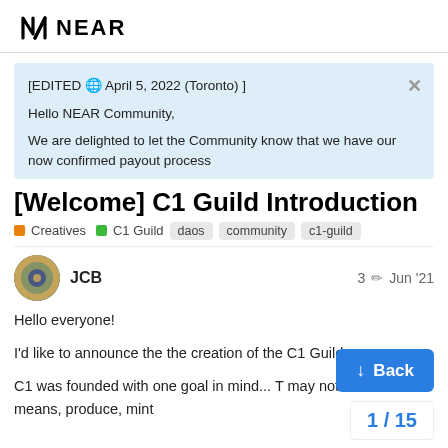NEAR
[EDITED 🌐 April 5, 2022 (Toronto) ]

Hello NEAR Community,

We are delighted to let the Community know that we have our now confirmed payout process
[Welcome] C1 Guild Introduction
Creatives  C1 Guild  daos  community  c1-guild
JCB  3 ✏  Jun '21
Hello everyone!

I'd like to announce the the creation of the C1 Guild.

C1 was founded with one goal in mind... T may not have the means, produce, mint
↓ Back
1 / 15